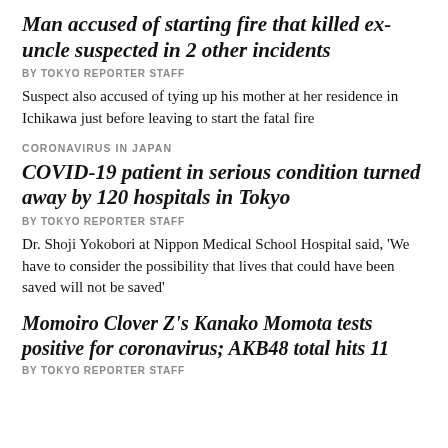Man accused of starting fire that killed ex-uncle suspected in 2 other incidents
BY TOKYO REPORTER STAFF
Suspect also accused of tying up his mother at her residence in Ichikawa just before leaving to start the fatal fire
CORONAVIRUS IN JAPAN
COVID-19 patient in serious condition turned away by 120 hospitals in Tokyo
BY TOKYO REPORTER STAFF
Dr. Shoji Yokobori at Nippon Medical School Hospital said, 'We have to consider the possibility that lives that could have been saved will not be saved'
Momoiro Clover Z's Kanako Momota tests positive for coronavirus; AKB48 total hits 11
BY TOKYO REPORTER STAFF